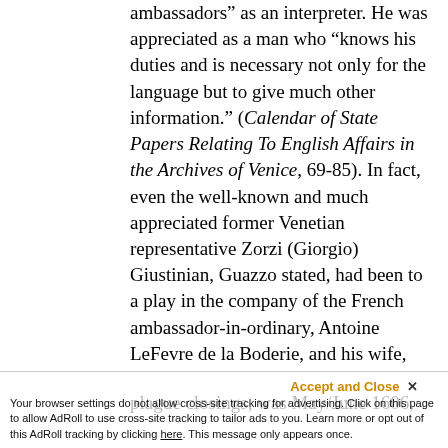ambassadors" as an interpreter. He was appreciated as a man who "knows his duties and is necessary not only for the language but to give much other information." (Calendar of State Papers Relating To English Affairs in the Archives of Venice, 69-85). In fact, even the well-known and much appreciated former Venetian representative Zorzi (Giorgio) Giustinian, Guazzo stated, had been to a play in the company of the French ambassador-in-ordinary, Antoine LeFevre de la Boderie, and his wife, and Ottavian Lotti, the Florentine resident in England. The play in question was Shakespeare's Pericles. Giustinian was the Venetian Ambassador to England from January 5, 1606 to November 23, 1608. Leeds Barroll convincingly argues that the only time ... plague closings, was May/June 1606, April 1607,
Your browser settings do not allow cross-site tracking for advertising. Click on this page to allow AdRoll to use cross-site tracking to tailor ads to you. Learn more or opt out of this AdRoll tracking by clicking here. This message only appears once.